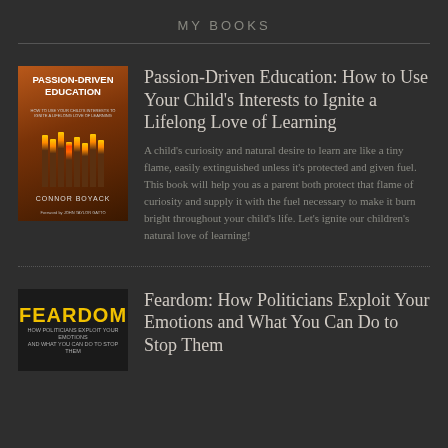MY BOOKS
[Figure (illustration): Book cover of Passion-Driven Education by Connor Boyack, featuring matchsticks with one lit, on an orange/brown gradient background]
Passion-Driven Education: How to Use Your Child's Interests to Ignite a Lifelong Love of Learning
A child's curiosity and natural desire to learn are like a tiny flame, easily extinguished unless it's protected and given fuel. This book will help you as a parent both protect that flame of curiosity and supply it with the fuel necessary to make it burn bright throughout your child's life. Let's ignite our children's natural love of learning!
[Figure (illustration): Book cover of Feardom by Connor Boyack, with yellow text on black background]
Feardom: How Politicians Exploit Your Emotions and What You Can Do to Stop Them